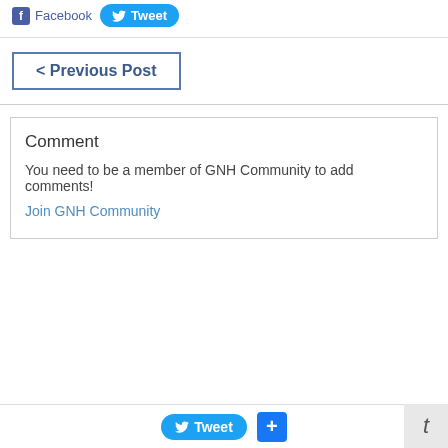[Figure (other): Facebook share button icon and Tweet button]
< Previous Post
Comment
You need to be a member of GNH Community to add comments!
Join GNH Community
[Figure (other): Tweet button and plus button in bottom bar, and tumblr t icon]